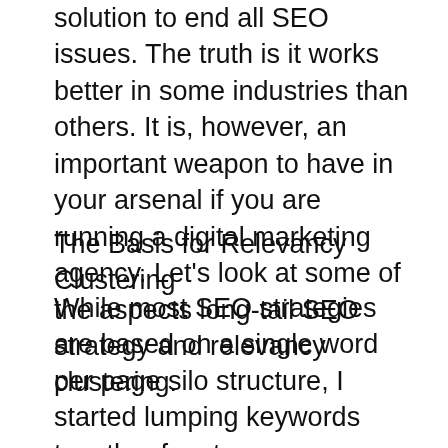solution to end all SEO issues. The truth is it works better in some industries than others. It is, however, an important weapon to have in your arsenal if you are running a digital marketing agency. Let's look at some of the aspects long-tail SEO strategy and relevancy clustering.
The Basis for Relevancy Clustering
While most SEO strategies are based on a single word per page silo structure, I started lumping keywords together for stronger relevancy when I learned that Google had purchased multiple semantic web technology companies. The theory behind relevancy stacking is that Google favors relevancy and you can easily leverage this by placing closely related keywords in all SEO elements such as URL, title, description, H tags, and content. Using this approach, you can have a head start in rankings.